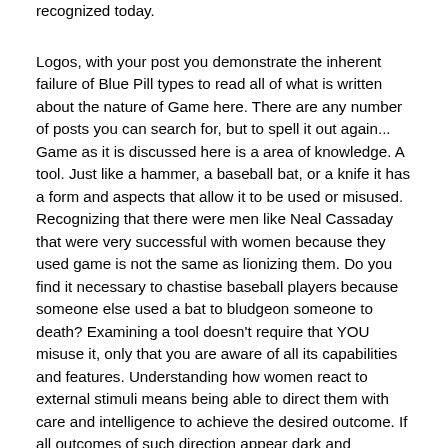recognized today.
Logos, with your post you demonstrate the inherent failure of Blue Pill types to read all of what is written about the nature of Game here. There are any number of posts you can search for, but to spell it out again... Game as it is discussed here is a area of knowledge. A tool. Just like a hammer, a baseball bat, or a knife it has a form and aspects that allow it to be used or misused. Recognizing that there were men like Neal Cassaday that were very successful with women because they used game is not the same as lionizing them. Do you find it necessary to chastise baseball players because someone else used a bat to bludgeon someone to death? Examining a tool doesn't require that YOU misuse it, only that you are aware of all its capabilities and features. Understanding how women react to external stimuli means being able to direct them with care and intelligence to achieve the desired outcome. If all outcomes of such direction appear dark and manipulative to you... perhaps it is you that is fully steeped in what the matriarchy wants you to think. Because they are certainly working to manipulate you every day for their desired ends and have no qualms in using anything